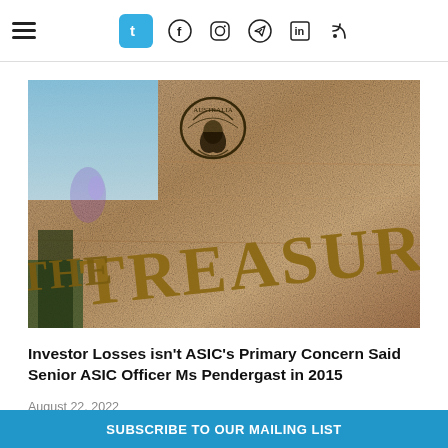Navigation bar with hamburger menu and social icons: Tumblr, Facebook, Instagram, Telegram, LinkedIn, RSS
[Figure (photo): Close-up photo of a granite wall with gold lettering reading 'THE TREASURY' and an Australian coat of arms emblem above it, with 'AUSTRALIA' written above the emblem.]
Investor Losses isn't ASIC's Primary Concern Said Senior ASIC Officer Ms Pendergast in 2015
August 22, 2022
SUBSCRIBE TO OUR MAILING LIST